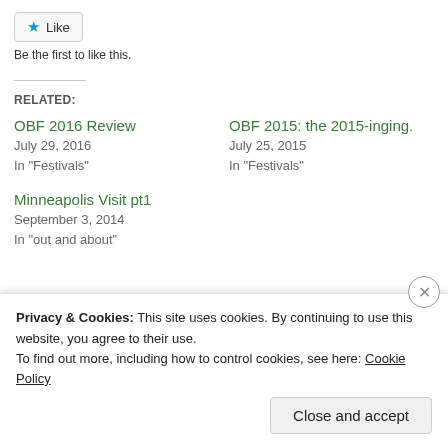[Figure (other): Like button with star icon and text 'Like']
Be the first to like this.
RELATED:
OBF 2016 Review
July 29, 2016
In "Festivals"
OBF 2015: the 2015-inging.
July 25, 2015
In "Festivals"
Minneapolis Visit pt1
September 3, 2014
In "out and about"
Privacy & Cookies: This site uses cookies. By continuing to use this website, you agree to their use.
To find out more, including how to control cookies, see here: Cookie Policy
Close and accept